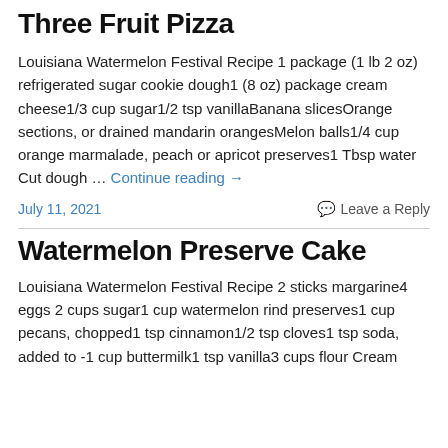Three Fruit Pizza
Louisiana Watermelon Festival Recipe 1 package (1 lb 2 oz) refrigerated sugar cookie dough1 (8 oz) package cream cheese1/3 cup sugar1/2 tsp vanillaBanana slicesOrange sections, or drained mandarin orangesMelon balls1/4 cup orange marmalade, peach or apricot preserves1 Tbsp water Cut dough … Continue reading →
July 11, 2021
Leave a Reply
Watermelon Preserve Cake
Louisiana Watermelon Festival Recipe 2 sticks margarine4 eggs 2 cups sugar1 cup watermelon rind preserves1 cup pecans, chopped1 tsp cinnamon1/2 tsp cloves1 tsp soda, added to -1 cup buttermilk1 tsp vanilla3 cups flour Cream